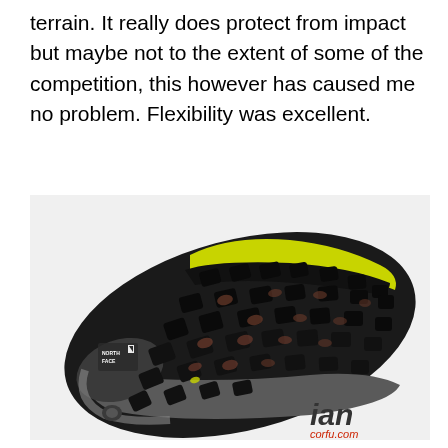terrain. It really does protect from impact but maybe not to the extent of some of the competition, this however has caused me no problem. Flexibility was excellent.
[Figure (photo): Close-up photograph of the sole of a North Face trail running shoe, showing aggressive black rubber lugs with yellow accents on the upper. The shoe is viewed from below at an angle. A watermark reading 'ian' and smaller text is visible in the bottom right corner.]